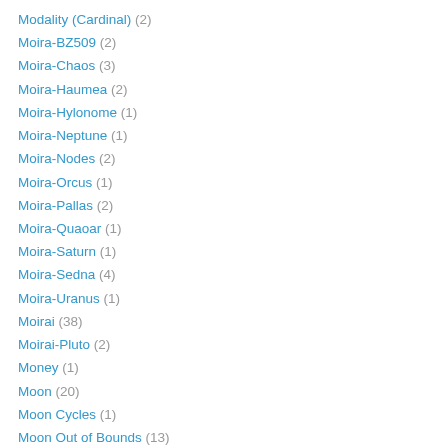Modality (Cardinal) (2)
Moira-BZ509 (2)
Moira-Chaos (3)
Moira-Haumea (2)
Moira-Hylonome (1)
Moira-Neptune (1)
Moira-Nodes (2)
Moira-Orcus (1)
Moira-Pallas (2)
Moira-Quaoar (1)
Moira-Saturn (1)
Moira-Sedna (4)
Moira-Uranus (1)
Moirai (38)
Moirai-Pluto (2)
Money (1)
Moon (20)
Moon Cycles (1)
Moon Out of Bounds (13)
Moon-Ceres (1)